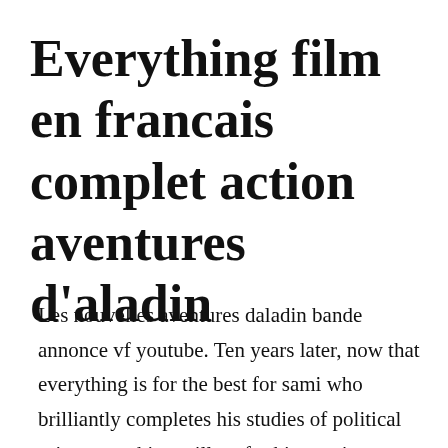Everything film en francais complet action aventures d'aladin
Les nouvelles aventures daladin bande annonce vf youtube. Ten years later, now that everything is for the best for sami who brilliantly completes his studies of political science, nothing will go for his cousin charles